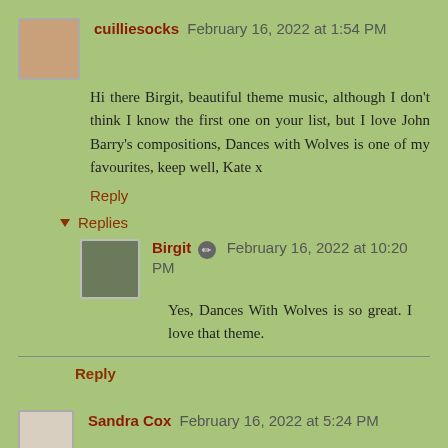cuilliesocks February 16, 2022 at 1:54 PM
Hi there Birgit, beautiful theme music, although I don't think I know the first one on your list, but I love John Barry's compositions, Dances with Wolves is one of my favourites, keep well, Kate x
Reply
Replies
Birgit February 16, 2022 at 10:20 PM
Yes, Dances With Wolves is so great. I love that theme.
Reply
Sandra Cox February 16, 2022 at 5:24 PM
Three good ones. I enjoyed all of them.